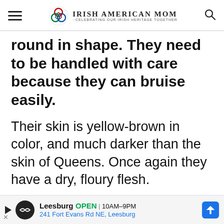Irish American Mom - Celebrating Our Irish Heritage Together
round in shape. They need to be handled with care because they can bruise easily.
Their skin is yellow-brown in color, and much darker than the skin of Queens. Once again they have a dry, floury flesh.
Leesburg OPEN 10AM–9PM 241 Fort Evans Rd NE, Leesburg